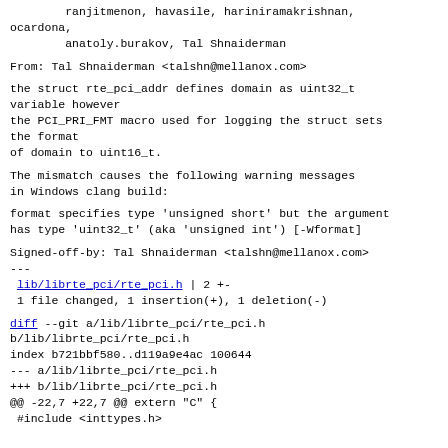ranjitmenon, havasile, hariniramakrishnan,
ocardona,
        anatoly.burakov, Tal Shnaiderman
From: Tal Shnaiderman <talshn@mellanox.com>
the struct rte_pci_addr defines domain as uint32_t
variable however
the PCI_PRI_FMT macro used for logging the struct sets
the format
of domain to uint16_t.
The mismatch causes the following warning messages
in Windows clang build:
format specifies type 'unsigned short' but the argument
has type 'uint32_t' (aka 'unsigned int') [-Wformat]
Signed-off-by: Tal Shnaiderman <talshn@mellanox.com>
---
lib/librte_pci/rte_pci.h | 2 +-
 1 file changed, 1 insertion(+), 1 deletion(-)
diff --git a/lib/librte_pci/rte_pci.h
b/lib/librte_pci/rte_pci.h
index b721bbf580..d119a9e4ac 100644
--- a/lib/librte_pci/rte_pci.h
+++ b/lib/librte_pci/rte_pci.h
@@ -22,7 +22,7 @@ extern "C" {
 #include <inttypes.h>